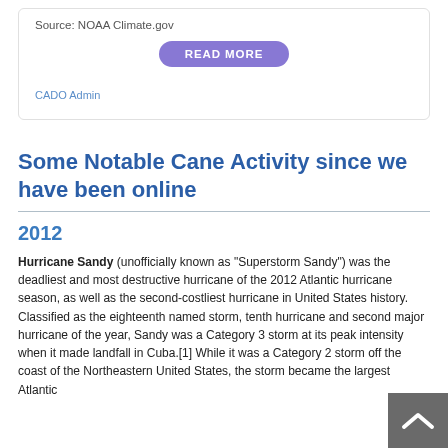Source: NOAA Climate.gov
READ MORE
CADO Admin
Some Notable Cane Activity since we have been online
2012
Hurricane Sandy (unofficially known as "Superstorm Sandy") was the deadliest and most destructive hurricane of the 2012 Atlantic hurricane season, as well as the second-costliest hurricane in United States history. Classified as the eighteenth named storm, tenth hurricane and second major hurricane of the year, Sandy was a Category 3 storm at its peak intensity when it made landfall in Cuba.[1] While it was a Category 2 storm off the coast of the Northeastern United States, the storm became the largest Atlantic